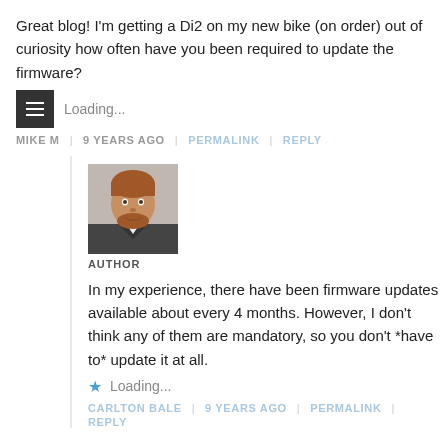Great blog! I'm getting a Di2 on my new bike (on order) out of curiosity how often have you been required to update the firmware?
Loading...
MIKE M | 9 YEARS AGO | PERMALINK | REPLY
[Figure (photo): Author avatar: headshot of a man with reddish hair and beard, wearing a suit jacket]
AUTHOR
In my experience, there have been firmware updates available about every 4 months. However, I don't think any of them are mandatory, so you don't *have to* update it at all.
Loading...
CARLTON BALE | 9 YEARS AGO | PERMALINK | REPLY